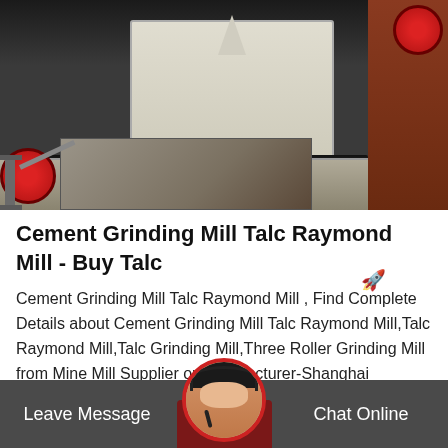[Figure (photo): Industrial cement grinding mill / Raymond mill machinery in a factory setting. Large cream-colored cylindrical mill with black ring and bolts, structural metal components, red handwheels visible on left and right sides.]
Cement Grinding Mill Talc Raymond Mill - Buy Talc
Cement Grinding Mill Talc Raymond Mill , Find Complete Details about Cement Grinding Mill Talc Raymond Mill,Talc Raymond Mill,Talc Grinding Mill,Three Roller Grinding Mill from Mine Mill Supplier or Manufacturer-Shanghai Shibang Machinery Sales C ....
Leave Message  Chat Online